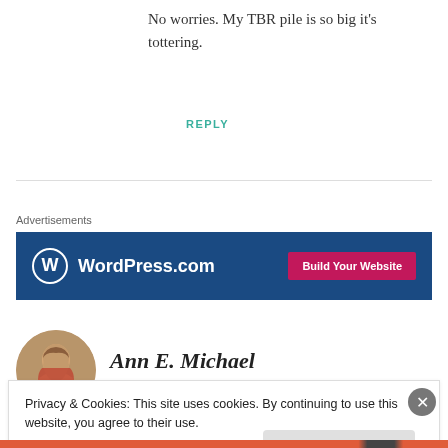No worries. My TBR pile is so big it's tottering.
REPLY
Advertisements
[Figure (other): WordPress.com advertisement banner with blue background, WordPress logo, and pink 'Build Your Website' button]
[Figure (photo): Circular author avatar photo of Ann E. Michael, a woman with light brown hair wearing a red scarf]
Ann E. Michael
Privacy & Cookies: This site uses cookies. By continuing to use this website, you agree to their use.
To find out more, including how to control cookies, see here: Cookie Policy
Close and accept